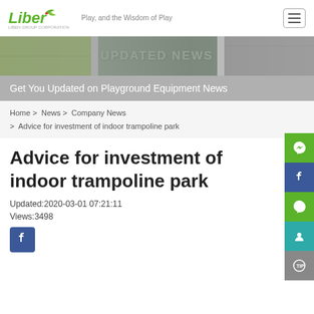Liber — Play, and the Wisdom of Play
[Figure (screenshot): Banner image with text UPDATED NEWS over a blended collage of outdoor/indoor playground photos]
Get You Updated on Playground Equipment News
Home > News > Company News > Advice for investment of indoor trampoline park
Advice for investment of indoor trampoline park
Updated:2020-03-01 07:21:11
Views:3498